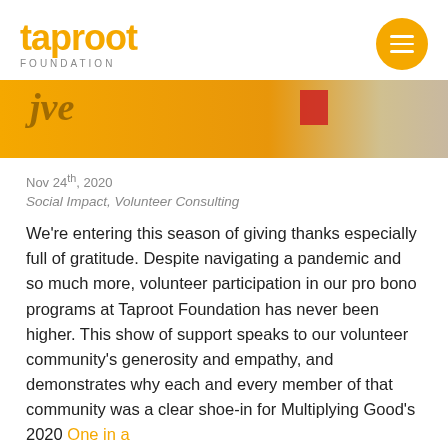taproot FOUNDATION
[Figure (photo): Close-up photo of a yellow/orange background with handwritten text partially visible and a red element in the upper right area]
Nov 24th, 2020
Social Impact, Volunteer Consulting
We're entering this season of giving thanks especially full of gratitude. Despite navigating a pandemic and so much more, volunteer participation in our pro bono programs at Taproot Foundation has never been higher. This show of support speaks to our volunteer community's generosity and empathy, and demonstrates why each and every member of that community was a clear shoe-in for Multiplying Good's 2020 One in a